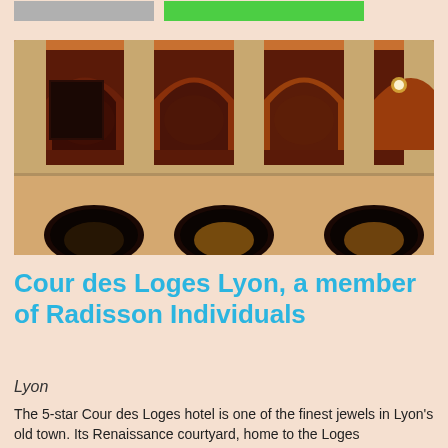[Figure (photo): Interior courtyard of Cour des Loges Lyon hotel showing Renaissance arches with warm amber and red lighting, two levels of stone arched galleries visible]
Cour des Loges Lyon, a member of Radisson Individuals
Lyon
The 5-star Cour des Loges hotel is one of the finest jewels in Lyon's old town. Its Renaissance courtyard, home to the Loges